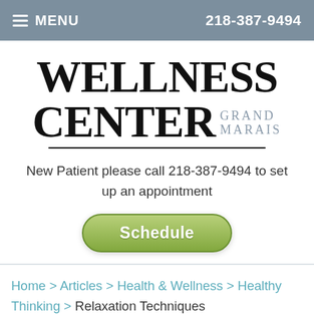MENU   218-387-9494
[Figure (logo): Wellness Center Grand Marais logo with large serif text]
New Patient please call 218-387-9494 to set up an appointment
Schedule
Home > Articles > Health & Wellness > Healthy Thinking > Relaxation Techniques
[Figure (photo): Partial photo at bottom of page, warm tones, person relaxing]